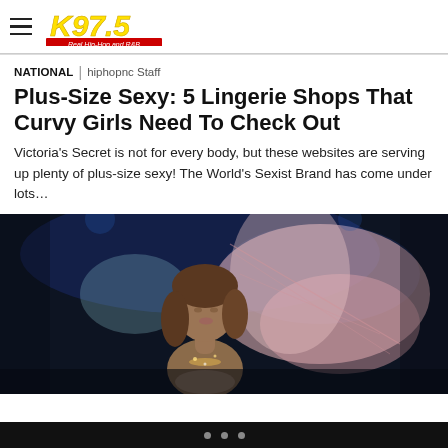K97.5 — Real Hip-Hop and R&B
NATIONAL | hiphopnc Staff
Plus-Size Sexy: 5 Lingerie Shops That Curvy Girls Need To Check Out
Victoria's Secret is not for every body, but these websites are serving up plenty of plus-size sexy! The World's Sexist Brand has come under lots…
[Figure (photo): Fashion model wearing lingerie with large fairy/angel wings on a runway stage with blue lighting in the background.]
• • •